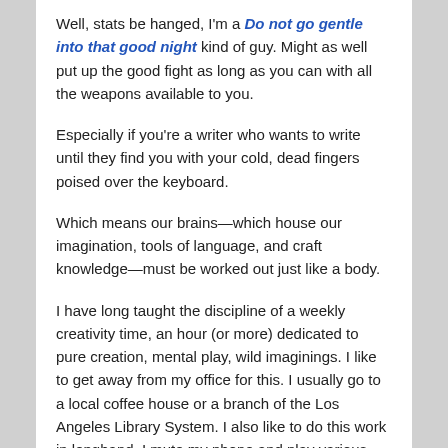Well, stats be hanged, I'm a Do not go gentle into that good night kind of guy. Might as well put up the good fight as long as you can with all the weapons available to you.
Especially if you're a writer who wants to write until they find you with your cold, dead fingers poised over the keyboard.
Which means our brains—which house our imagination, tools of language, and craft knowledge—must be worked out just like a body.
I have long taught the discipline of a weekly creativity time, an hour (or more) dedicated to pure creation, mental play, wild imaginings. I like to get away from my office for this. I usually go to a local coffee house or a branch of the Los Angeles Library System. I also like to do this work in longhand. I mute my phone and play various games, like:
The First Line Game. Just come up with the most